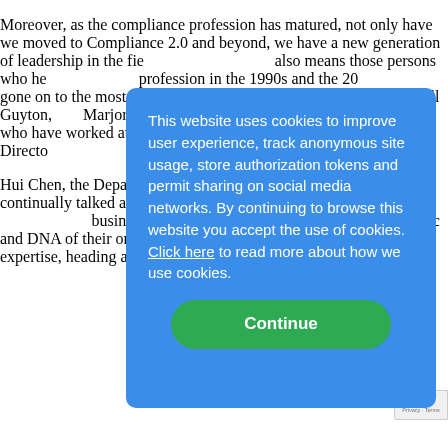Moreover, as the compliance profession has matured, not only have we moved to Compliance 2.0 and beyond, we have a new generation of leadership in the fie... also means those persons who he... profession in the 1990s and the 20... gone on to the most senior levels ... Snell, Joe Murphy, Odell Guyton, ... Marjorie Doyle are all names wel... field who have worked at senior l... and would make excellent Directo... of Directors' Compliance Commi...
[Figure (other): Cookie consent modal overlay with blue background. Text reads: 'This website uses cookies to improve user experience, track anonymous site usage, store authorization tokens and permit sharing on social media networks. By continuing to browse this website you accept the use of cookies. Click here to read more about how we use cookies.' Green 'Continue' button at the bottom.]
Hui Chen, the Department of Just... Counsel, has continually talked al... to operationalize their compliance... businesses must work to literally ... fabric and DNA of their organizat... with specific compliance expertise, heading a Board le...